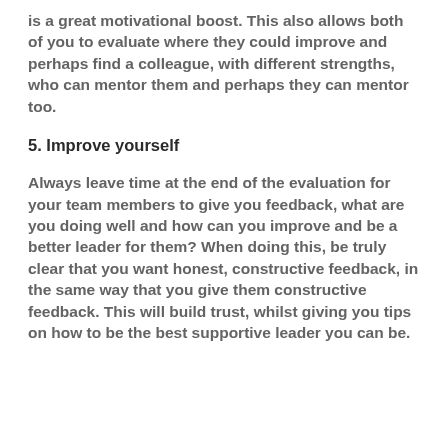is a great motivational boost. This also allows both of you to evaluate where they could improve and perhaps find a colleague, with different strengths, who can mentor them and perhaps they can mentor too.
5. Improve yourself
Always leave time at the end of the evaluation for your team members to give you feedback, what are you doing well and how can you improve and be a better leader for them? When doing this, be truly clear that you want honest, constructive feedback, in the same way that you give them constructive feedback. This will build trust, whilst giving you tips on how to be the best supportive leader you can be.